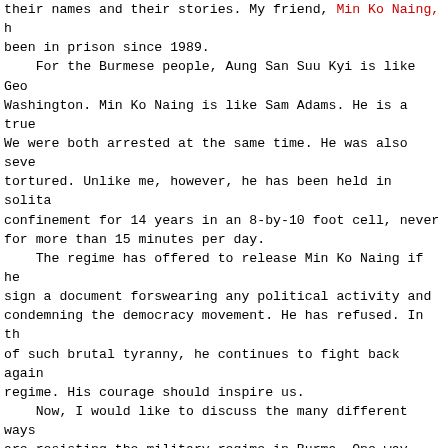their names and their stories. My friend, Min Ko Naing, has been in prison since 1989.
    For the Burmese people, Aung San Suu Kyi is like George Washington. Min Ko Naing is like Sam Adams. He is a true We were both arrested at the same time. He was also severely tortured. Unlike me, however, he has been held in solitary confinement for 14 years in an 8-by-10 foot cell, never leaving for more than 15 minutes per day.
    The regime has offered to release Min Ko Naing if he would sign a document forswearing any political activity and condemning the democracy movement. He has refused. In the face of such brutal tyranny, he continues to fight back against the regime. His courage should inspire us.
    Now, I would like to discuss the many different ways people are resisting the military regime in Burma. One way that we are working to bring change to Burma is through information. The National Endowment for Democracy gives money to organizations along the Thailand-Burma border that help to get information inside the country, including this newspaper, The New Era Journal. Every month, we distribute thousands of copies into Burma throughout our courier network. Keep in mind that mere possession of this newspaper is an automatic 7-year jail sentence.
    We are also very grateful for services from the Voice of America and Radio Free Asia. Even though many people have been sentenced to long prison terms for listening to the radio, the people of Burma listen to these radio programs almost every night in order to find out what's going on in the world and in our own country.
    My people also continue to organize protests around the country. Last August, two of my colleagues were arrested...